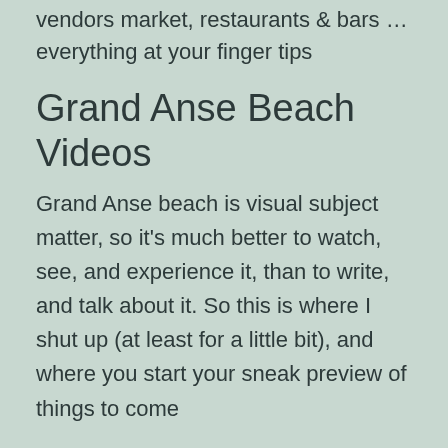vendors market, restaurants & bars … everything at your finger tips
Grand Anse Beach Videos
Grand Anse beach is visual subject matter, so it's much better to watch, see, and experience it, than to write, and talk about it. So this is where I shut up (at least for a little bit), and where you start your sneak preview of things to come